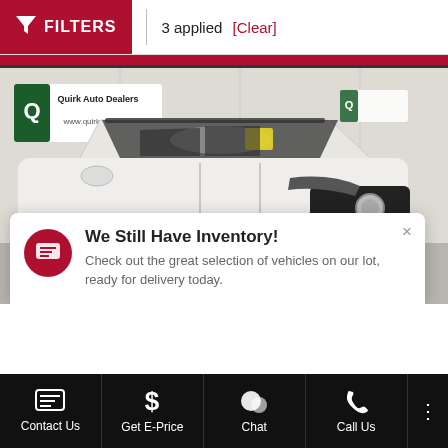FILTERS  3 applied  [Clear]
[Figure (photo): White Nissan Armada SUV parked in a Quirk Auto Dealers showroom/facility. A Quirk Auto Dealers banner with www.quirkcars.com is visible in the upper left of the image.]
We Still Have Inventory!
Check out the great selection of vehicles on our lot, ready for delivery today.
Contact Us  Get E-Price  Chat  Call Us